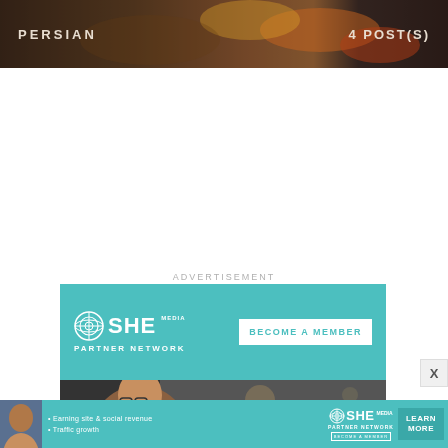[Figure (photo): Dark banner with food/vegetables in background showing PERSIAN label on left and 4 POST(S) on right]
ADVERTISEMENT
[Figure (photo): SHE Media Partner Network advertisement banner with teal background showing 'BECOME A MEMBER' button and photo of smiling woman with glasses]
[Figure (photo): SHE Media Partner Network bottom banner ad with teal background, bullet points 'Earning site & social revenue' and 'Traffic growth', LEARN MORE button]